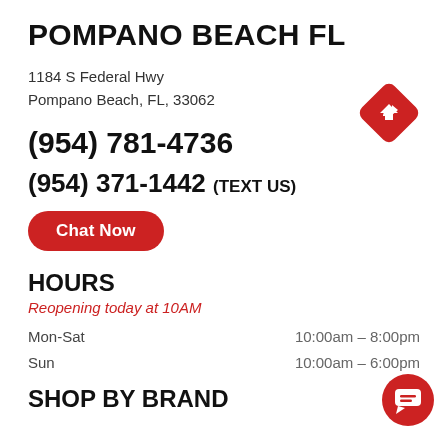POMPANO BEACH FL
1184 S Federal Hwy
Pompano Beach, FL, 33062
[Figure (illustration): Red diamond-shaped navigation/directions icon with a right-turn arrow]
(954) 781-4736
(954) 371-1442 (TEXT US)
Chat Now
HOURS
Reopening today at 10AM
Mon-Sat	10:00am - 8:00pm
Sun	10:00am - 6:00pm
SHOP BY BRAND
[Figure (illustration): Red circular chat/message bubble icon]